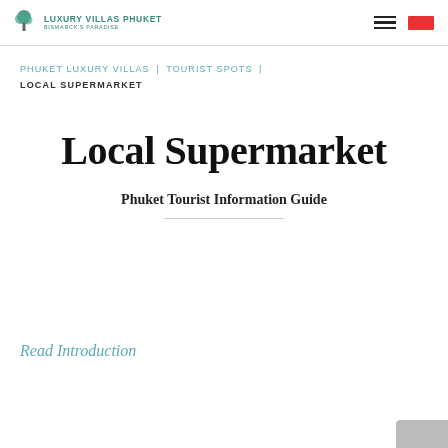Luxury Villas Phuket – Bismarck's Paradise
PHUKET LUXURY VILLAS | TOURIST SPOTS | LOCAL SUPERMARKET
Local Supermarket
Phuket Tourist Information Guide
Read Introduction